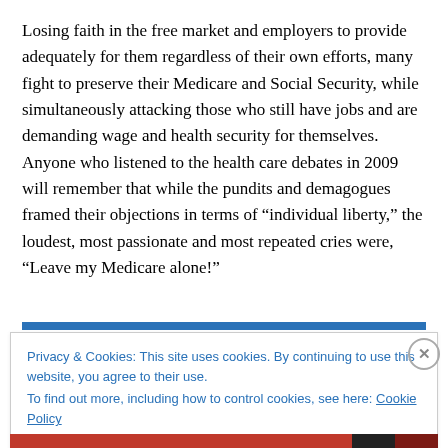Losing faith in the free market and employers to provide adequately for them regardless of their own efforts, many fight to preserve their Medicare and Social Security, while simultaneously attacking those who still have jobs and are demanding wage and health security for themselves. Anyone who listened to the health care debates in 2009 will remember that while the pundits and demagogues framed their objections in terms of “individual liberty,” the loudest, most passionate and most repeated cries were, “Leave my Medicare alone!”
Privacy & Cookies: This site uses cookies. By continuing to use this website, you agree to their use. To find out more, including how to control cookies, see here: Cookie Policy
Close and accept